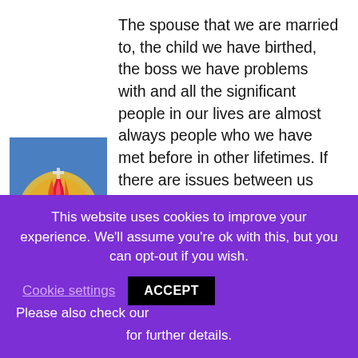The spouse that we are married to, the child we have birthed, the boss we have problems with and all the significant people in our lives are almost always people who we have met before in other lifetimes. If there are issues between us and these people, they often a result of unresolved or traumatic experiences we have had with these Souls in other times and places.
[Figure (illustration): A colorful illustration of a sacred heart with red flame-like protrusions at the top, surrounded by a golden yellow halo and blue background. The heart is deep red/purple in color.]
It is not uncommon for significant others in this life to have been our mates in other lives and often
This website uses cookies to improve your experience. We'll assume you're ok with this, but you can opt-out if you wish.
Cookie settings
ACCEPT
Please also check our
for further details.